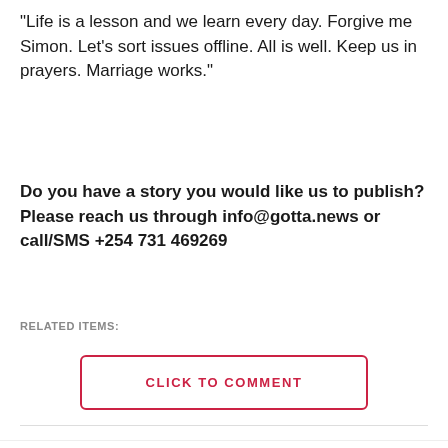“Life is a lesson and we learn every day. Forgive me Simon. Let’s sort issues offline. All is well. Keep us in prayers. Marriage works.”
Do you have a story you would like us to publish? Please reach us through info@gotta.news or call/SMS +254 731 469269
RELATED ITEMS:
CLICK TO COMMENT
MOST POPULAR
LATEST NEWS
Boni Khalwale Subtly Celebrates Cleophas